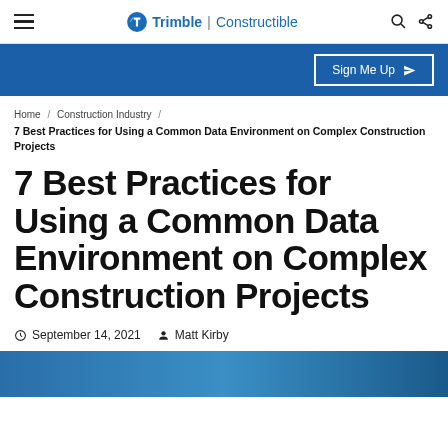Trimble | Constructible
Sign Me Up
Home / Construction Industry / 7 Best Practices for Using a Common Data Environment on Complex Construction Projects
7 Best Practices for Using a Common Data Environment on Complex Construction Projects
September 14, 2021  Matt Kirby